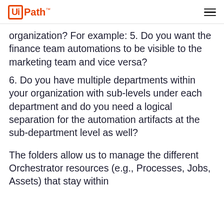UiPath™
organization? For example: 5. Do you want the finance team automations to be visible to the marketing team and vice versa?
6. Do you have multiple departments within your organization with sub-levels under each department and do you need a logical separation for the automation artifacts at the sub-department level as well?
The folders allow us to manage the different Orchestrator resources (e.g., Processes, Jobs, Assets) that stay within